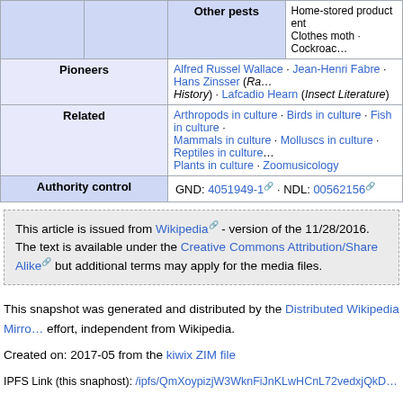|  | Other pests |
| --- | --- |
|  | Home-stored product ent… Clothes moth · Cockroac… |
| Pioneers | Alfred Russel Wallace · Jean-Henri Fabre · Hans Zinsser (Ra… History) · Lafcadio Hearn (Insect Literature) |
| Related | Arthropods in culture · Birds in culture · Fish in culture · Mammals in culture · Molluscs in culture · Reptiles in culture … Plants in culture · Zoomusicology |
| Authority control | GND: 4051949-1 · NDL: 00562156 |
This article is issued from Wikipedia - version of the 11/28/2016. The text is available under the Creative Commons Attribution/Share Alike but additional terms may apply for the media files.
This snapshot was generated and distributed by the Distributed Wikipedia Mirro… effort, independent from Wikipedia.
Created on: 2017-05 from the kiwix ZIM file
IPFS Link (this snaphost): /ipfs/QmXoypizjW3WknFiJnKLwHCnL72vedxjQkD…